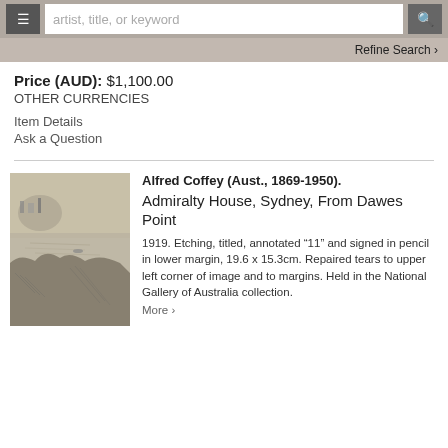artist, title, or keyword [search bar with menu and search buttons]
Refine Search
Price (AUD): $1,100.00
OTHER CURRENCIES
Item Details
Ask a Question
Alfred Coffey (Aust., 1869-1950). Admiralty House, Sydney, From Dawes Point
1919. Etching, titled, annotated “11” and signed in pencil in lower margin, 19.6 x 15.3cm. Repaired tears to upper left corner of image and to margins. Held in the National Gallery of Australia collection.
More ›